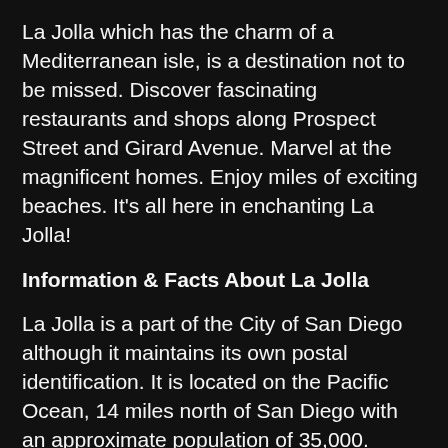La Jolla which has the charm of a Mediterranean isle, is a destination not to be missed. Discover fascinating restaurants and shops along Prospect Street and Girard Avenue. Marvel at the magnificent homes. Enjoy miles of exciting beaches. It's all here in enchanting La Jolla!
Information & Facts About La Jolla
La Jolla is a part of the City of San Diego although it maintains its own postal identification. It is located on the Pacific Ocean, 14 miles north of San Diego with an approximate population of 35,000. There are many caves, cliffs and beaches along its picturesque coastline.